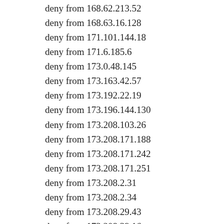deny from 168.62.213.52
deny from 168.63.16.128
deny from 171.101.144.18
deny from 171.6.185.6
deny from 173.0.48.145
deny from 173.163.42.57
deny from 173.192.22.19
deny from 173.196.144.130
deny from 173.208.103.26
deny from 173.208.171.188
deny from 173.208.171.242
deny from 173.208.171.251
deny from 173.208.2.31
deny from 173.208.2.34
deny from 173.208.29.43
deny from 173.208.39.16
deny from 173.212.192.23
deny from 173.212.192.232
deny from 173.212.192.52 (partial)